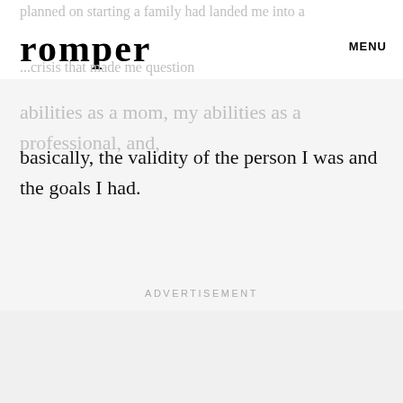romper  MENU
planned on starting a family had landed me into a ... crisis that made me question abilities as a mom, my abilities as a professional, and, basically, the validity of the person I was and the goals I had.
ADVERTISEMENT